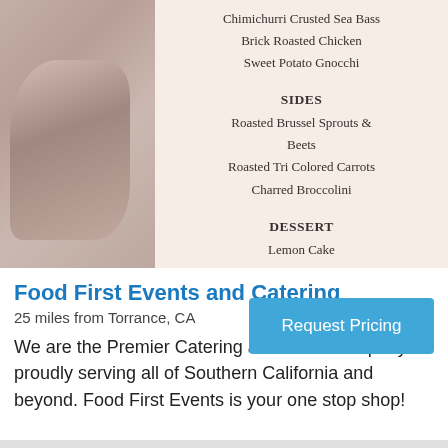[Figure (photo): A photo showing a catering menu card with fabric/drapery on the left side. The menu card lists food items including Chimichurri Crusted Sea Bass, Brick Roasted Chicken, Sweet Potato Gnocchi under entrees; Sides section with Roasted Brussel Sprouts & Beets, Roasted Tri Colored Carrots, Charred Broccolini; Dessert section with Lemon Cake.]
Food First Events and Catering
25 miles from Torrance, CA
Request Pricing
We are the Premier Catering and Event company proudly serving all of Southern California and beyond. Food First Events is your one stop shop!